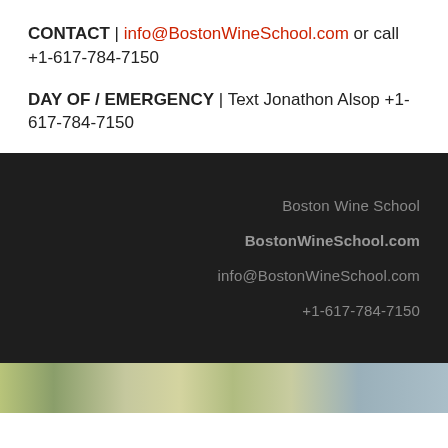CONTACT | info@BostonWineSchool.com or call +1-617-784-7150
DAY OF / EMERGENCY | Text Jonathon Alsop +1-617-784-7150
Boston Wine School
BostonWineSchool.com
info@BostonWineSchool.com
+1-617-784-7150
[Figure (photo): Partial photo strip at bottom of page showing blurred outdoor/wine-related scene]